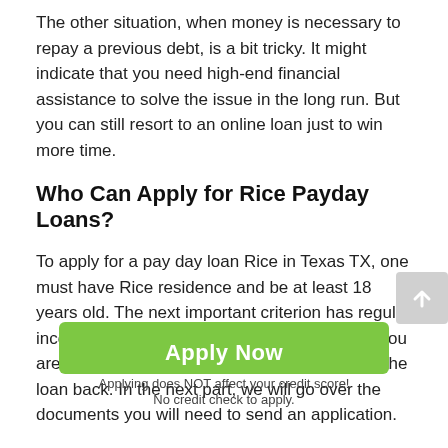The other situation, when money is necessary to repay a previous debt, is a bit tricky. It might indicate that you need high-end financial assistance to solve the issue in the long run. But you can still resort to an online loan just to win more time.
Who Can Apply for Rice Payday Loans?
To apply for a pay day loan Rice in Texas TX, one must have Rice residence and be at least 18 years old. The next important criterion has regular income. In this way, direct lenders make sure you are in the appropriate financial position to pay the loan back. In the next part, we will go over the documents you will need to send an application.
What Documents Will I Need to Get Easy Payday Loans Rice in Texas?
Since no credit check in the traditional sense is required to
[Figure (other): Green 'Apply Now' button overlay with text 'Applying does NOT affect your credit score! No credit check to apply.' Also a grey scroll-to-top arrow button on the right side.]